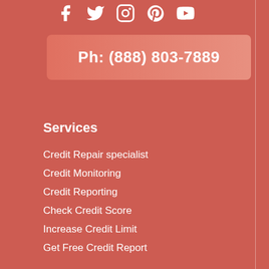[Figure (infographic): Social media icons: Facebook, Twitter, Instagram, Pinterest, YouTube]
Ph: (888) 803-7889
Services
Credit Repair specialist
Credit Monitoring
Credit Reporting
Check Credit Score
Increase Credit Limit
Get Free Credit Report
Quick Links
Credit Repair Reviews
Find Credit Repair Nearby
Get Latest Insights